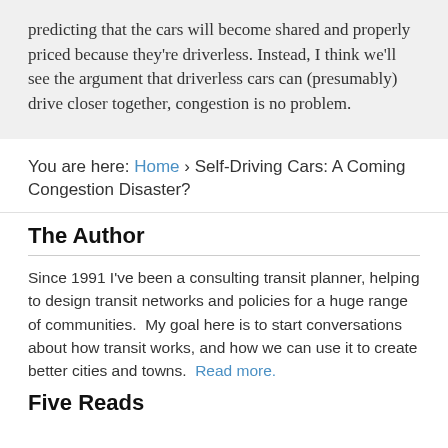predicting that the cars will become shared and properly priced because they're driverless. Instead, I think we'll see the argument that driverless cars can (presumably) drive closer together, congestion is no problem.
You are here: Home › Self-Driving Cars: A Coming Congestion Disaster?
The Author
Since 1991 I've been a consulting transit planner, helping to design transit networks and policies for a huge range of communities.  My goal here is to start conversations about how transit works, and how we can use it to create better cities and towns.  Read more.
Five Reads